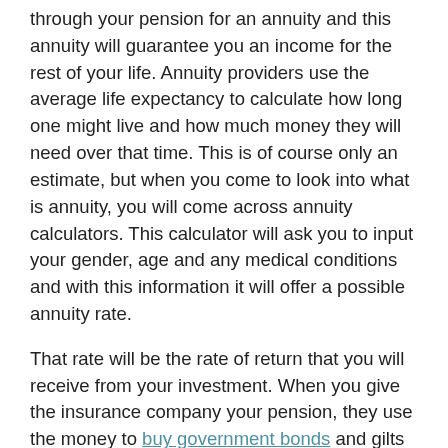through your pension for an annuity and this annuity will guarantee you an income for the rest of your life. Annuity providers use the average life expectancy to calculate how long one might live and how much money they will need over that time. This is of course only an estimate, but when you come to look into what is annuity, you will come across annuity calculators. This calculator will ask you to input your gender, age and any medical conditions and with this information it will offer a possible annuity rate.
That rate will be the rate of return that you will receive from your investment. When you give the insurance company your pension, they use the money to buy government bonds and gilts and it is the return from this investment that gives you your regular income. There are many different options to consider if you decide to take out an annuity. But the first step in understanding those options is understanding what is annuity. It is not complicated, but there is a lot of information available so it can be a bit overwhelming.